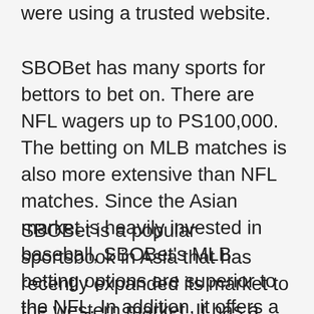were using a trusted website.
SBOBet has many sports for bettors to bet on. There are NFL wagers up to PS100,000. The betting on MLB matches is also more extensive than NFL matches. Since the Asian market is heavily invested in baseball, SBOBet's MLB betting options are superior to the NFL. In addition, it offers a variety of sports, including March Madness. It also offers a sportsbook and a racebook.
SBOBet is a popular sportsbook in Asia that has recently expanded its market to the western market. It has a license in the Isle of Man and offers customer support in multiple languages. Its website is easy to navigate, and the interface encourages punters to interact and place their bets. SBOBet is available in multiple countries and has a multi-language interface that makes it easy for users to communicate. It also